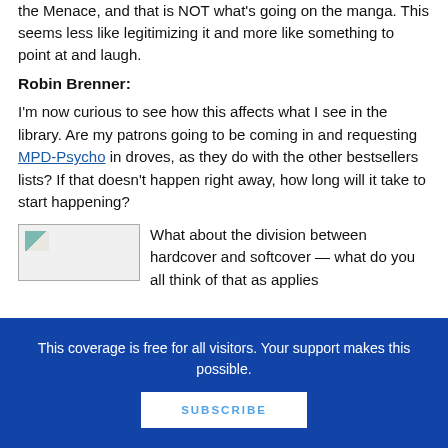the Menace, and that is NOT what's going on the manga. This seems less like legitimizing it and more like something to point at and laugh.
Robin Brenner:
I'm now curious to see how this affects what I see in the library. Are my patrons going to be coming in and requesting MPD-Psycho in droves, as they do with the other bestsellers lists? If that doesn't happen right away, how long will it take to start happening?
[Figure (illustration): Small broken image placeholder thumbnail]
What about the division between hardcover and softcover — what do you all think of that as applies
This coverage is free for all visitors. Your support makes this possible.
SUBSCRIBE